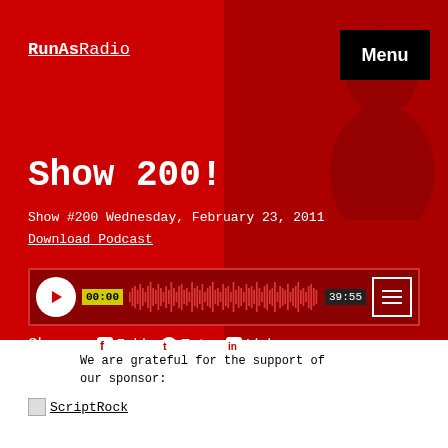RunAsRadio
Menu
Show 200!
Show #200 Wednesday, February 23, 2011
Download Podcast
[Figure (other): Audio player with play button, waveform visualization, timestamps 00:00 and 39:55, and menu icon]
Share: Fcbk  Twtr  Lkdn
We are grateful for the support of our sponsor:
ScriptRock